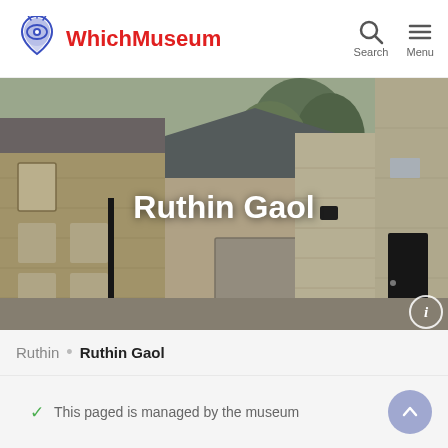WhichMuseum — Search / Menu
[Figure (photo): Photograph of Ruthin Gaol exterior — stone-walled historic prison courtyard buildings with trees visible in background. Title 'Ruthin Gaol' overlaid in white bold text.]
Ruthin • Ruthin Gaol
✓ This paged is managed by the museum